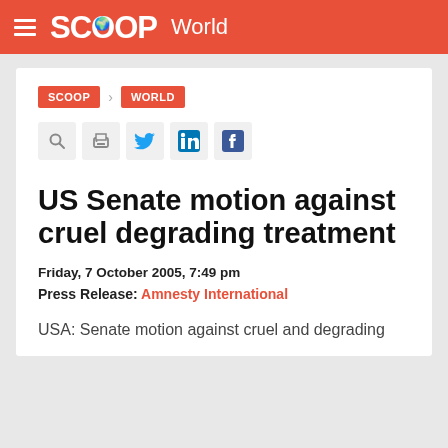SCOOP World
SCOOP > WORLD
[Figure (other): Social sharing icons: search, print, Twitter, LinkedIn, Facebook]
US Senate motion against cruel degrading treatment
Friday, 7 October 2005, 7:49 pm
Press Release: Amnesty International
USA: Senate motion against cruel and degrading